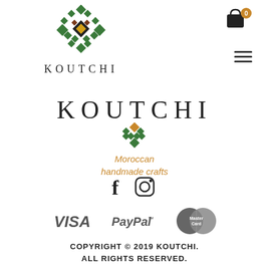[Figure (logo): Koutchi mosaic/geometric logo with text KOUTCHI in header top-left]
[Figure (other): Shopping cart icon with badge '0' in top-right corner]
[Figure (other): Hamburger menu icon (three horizontal lines) in top-right]
[Figure (logo): Large centered KOUTCHI brand logo with geometric diamond symbol and italic text 'Moroccan handmade crafts' in orange]
[Figure (other): Social media icons: Facebook and Instagram]
[Figure (other): Payment method logos: VISA, PayPal, MasterCard]
COPYRIGHT © 2019 KOUTCHI. ALL RIGHTS RESERVED.